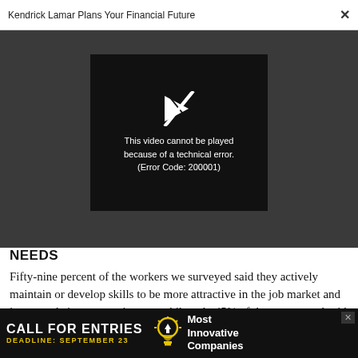Kendrick Lamar Plans Your Financial Future
[Figure (screenshot): Video player showing error message: 'This video cannot be played because of a technical error. (Error Code: 200001)' with a crossed-out play icon on dark background]
NEEDS
Fifty-nine percent of the workers we surveyed said they actively maintain or develop skills to be more attractive in the job market and improve their career trajectory, while only 45% of those surveyed said their employers off... (text cut off)
[Figure (infographic): Advertisement banner: CALL FOR ENTRIES, DEADLINE: SEPTEMBER 23, Most Innovative Companies, with lightbulb icon]